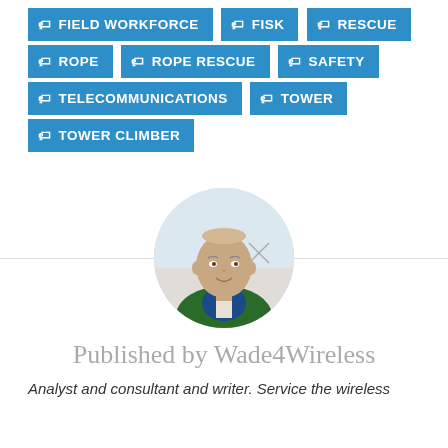FIELD WORKFORCE
FISK
RESCUE
ROPE
ROPE RESCUE
SAFETY
TELECOMMUNICATIONS
TOWER
TOWER CLIMBER
[Figure (photo): Circular profile photo of a bald man wearing a green and navy shirt, with a crosshair overlay, centered on page with a horizontal dividing line]
Published by Wade4Wireless
Analyst and consultant and writer. Service the wireless